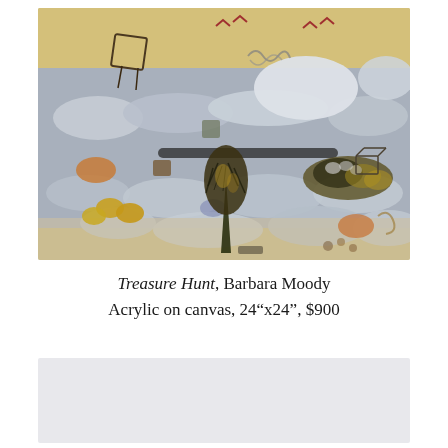[Figure (photo): Abstract acrylic painting titled 'Treasure Hunt' by Barbara Moody. The painting features a muted palette of blue-grey, yellow, and earth tones with abstract shapes including pebble-like forms, geometric outlines (diamond/cube), a dark weeping-tree-like form in the center, golden oval shapes on the left, and various overlapping organic shapes across the canvas.]
Treasure Hunt, Barbara Moody
Acrylic on canvas, 24"x24", $900
[Figure (photo): Partially visible second painting at the bottom of the page, mostly cut off.]